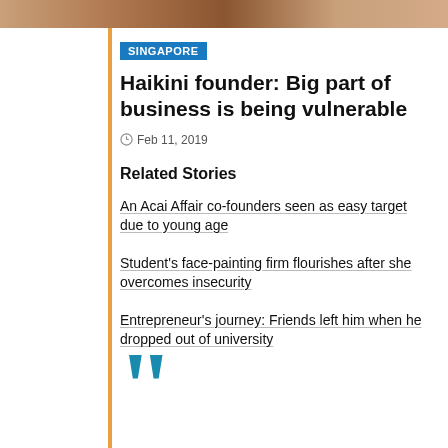[Figure (photo): Top banner image showing a blurred background scene]
SINGAPORE
Haikini founder: Big part of business is being vulnerable
Feb 11, 2019
Related Stories
An Acai Affair co-founders seen as easy target due to young age
Student's face-painting firm flourishes after she overcomes insecurity
Entrepreneur's journey: Friends left him when he dropped out of university
[Figure (illustration): Large teal quotation mark graphic]